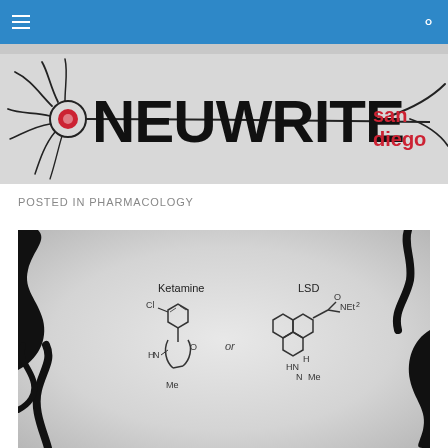Navigation bar with menu and search icons
[Figure (logo): NeuWrite San Diego logo with neuron illustration and bold text]
POSTED IN PHARMACOLOGY
[Figure (illustration): Chemical structure illustration showing Ketamine or LSD molecular diagrams on a gray gradient background with black organic shapes]